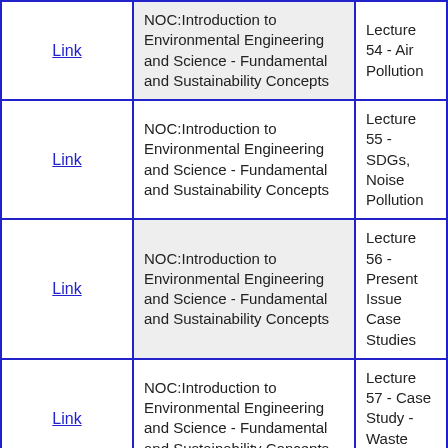|  | Course | Lecture |
| --- | --- | --- |
| Link | NOC:Introduction to Environmental Engineering and Science - Fundamental and Sustainability Concepts | Lecture 54 - Air Pollution |
| Link | NOC:Introduction to Environmental Engineering and Science - Fundamental and Sustainability Concepts | Lecture 55 - SDGs, Noise Pollution |
| Link | NOC:Introduction to Environmental Engineering and Science - Fundamental and Sustainability Concepts | Lecture 56 - Present Issue Case Studies |
| Link | NOC:Introduction to Environmental Engineering and Science - Fundamental and Sustainability Concepts | Lecture 57 - Case Study - Waste Management |
| Link | NOC:Introduction to |  |